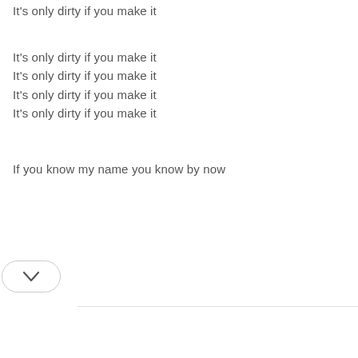It's only dirty if you make it
It's only dirty if you make it
It's only dirty if you make it
It's only dirty if you make it
It's only dirty if you make it
If you know my name you know by now